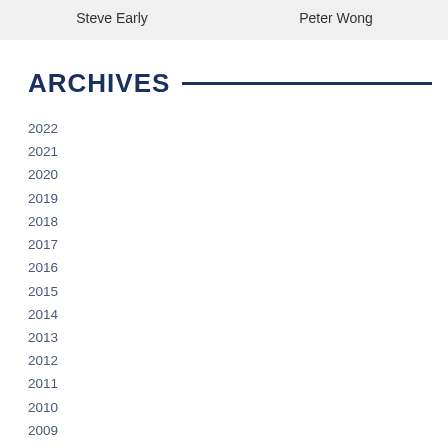Steve Early   Peter Wong
ARCHIVES
2022
2021
2020
2019
2018
2017
2016
2015
2014
2013
2012
2011
2010
2009
2008
2007